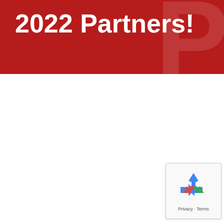2022 Partners!
[Figure (logo): reCAPTCHA badge with recycling arrow icon, Privacy and Terms links]